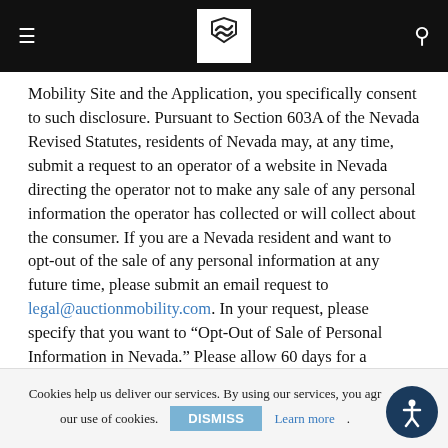Navigation header with logo
Mobility Site and the Application, you specifically consent to such disclosure. Pursuant to Section 603A of the Nevada Revised Statutes, residents of Nevada may, at any time, submit a request to an operator of a website in Nevada directing the operator not to make any sale of any personal information the operator has collected or will collect about the consumer. If you are a Nevada resident and want to opt-out of the sale of any personal information at any future time, please submit an email request to legal@auctionmobility.com. In your request, please specify that you want to “Opt-Out of Sale of Personal Information in Nevada.” Please allow 60 days for a response.
For Users Located in the European Economic Area (EEA) or the United
Cookies help us deliver our services. By using our services, you agr... our use of cookies. DISMISS Learn more.